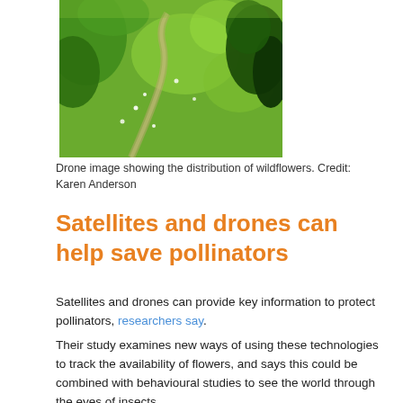[Figure (photo): Aerial drone image showing a green meadow field with wildflowers and trees, viewed from above.]
Drone image showing the distribution of wildflowers. Credit: Karen Anderson
Satellites and drones can help save pollinators
Satellites and drones can provide key information to protect pollinators, researchers say.
Their study examines new ways of using these technologies to track the availability of flowers, and says this could be combined with behavioural studies to see the world through the eyes of insects.
The flowers available to insects vary from day to day and place to place, and human activity is changing landscapes in ways that affect all pollinators.